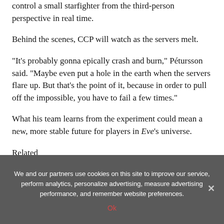control a small starfighter from the third-person perspective in real time.
Behind the scenes, CCP will watch as the servers melt.
“It’s probably gonna epically crash and burn,” Pétursson said. “Maybe even put a hole in the earth when the servers flare up. But that’s the point of it, because in order to pull off the impossible, you have to fail a few times.”
What his team learns from the experiment could mean a new, more stable future for players in Eve’s universe.
Related
We and our partners use cookies on this site to improve our service, perform analytics, personalize advertising, measure advertising performance, and remember website preferences.
Ok